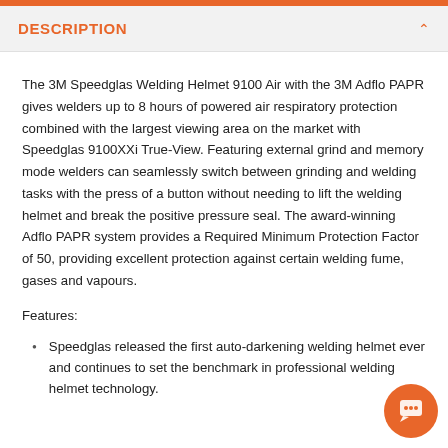DESCRIPTION
The 3M Speedglas Welding Helmet 9100 Air with the 3M Adflo PAPR gives welders up to 8 hours of powered air respiratory protection combined with the largest viewing area on the market with Speedglas 9100XXi True-View. Featuring external grind and memory mode welders can seamlessly switch between grinding and welding tasks with the press of a button without needing to lift the welding helmet and break the positive pressure seal. The award-winning Adflo PAPR system provides a Required Minimum Protection Factor of 50, providing excellent protection against certain welding fume, gases and vapours.
Features:
Speedglas released the first auto-darkening welding helmet ever and continues to set the benchmark in professional welding helmet technology.